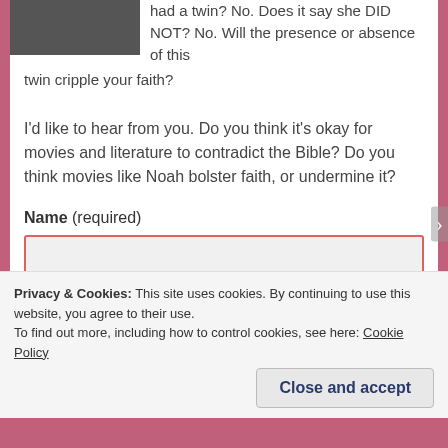had a twin? No. Does it say she DID NOT? No. Will the presence or absence of this twin cripple your faith?
I'd like to hear from you. Do you think it's okay for movies and literature to contradict the Bible? Do you think movies like Noah bolster faith, or undermine it?
Name (required)
Privacy & Cookies: This site uses cookies. By continuing to use this website, you agree to their use.
To find out more, including how to control cookies, see here: Cookie Policy